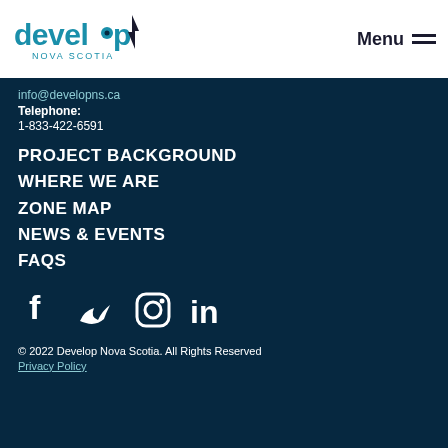[Figure (logo): Develop Nova Scotia logo with teal text and arrow/lightning bolt mark]
Menu ☰
info@developns.ca
Telephone:
1-833-422-6591
PROJECT BACKGROUND
WHERE WE ARE
ZONE MAP
NEWS & EVENTS
FAQS
[Figure (infographic): Social media icons: Facebook, Twitter, Instagram, LinkedIn]
© 2022 Develop Nova Scotia. All Rights Reserved
Privacy Policy